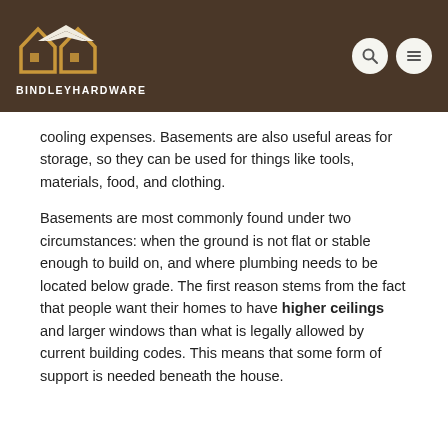BINDLEYHARDWARE
cooling expenses. Basements are also useful areas for storage, so they can be used for things like tools, materials, food, and clothing.
Basements are most commonly found under two circumstances: when the ground is not flat or stable enough to build on, and where plumbing needs to be located below grade. The first reason stems from the fact that people want their homes to have higher ceilings and larger windows than what is legally allowed by current building codes. This means that some form of support is needed beneath the house.